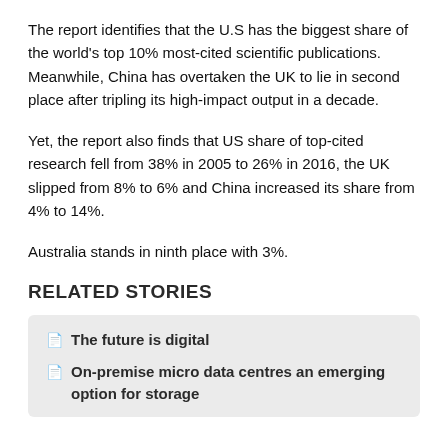The report identifies that the U.S has the biggest share of the world's top 10% most-cited scientific publications. Meanwhile, China has overtaken the UK to lie in second place after tripling its high-impact output in a decade.
Yet, the report also finds that US share of top-cited research fell from 38% in 2005 to 26% in 2016, the UK slipped from 8% to 6% and China increased its share from 4% to 14%.
Australia stands in ninth place with 3%.
RELATED STORIES
The future is digital
On-premise micro data centres an emerging option for storage